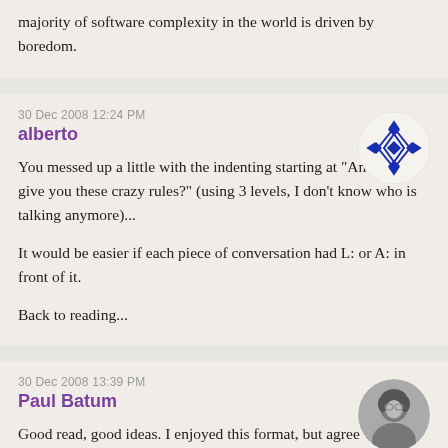majority of software complexity in the world is driven by boredom.
30 Dec 2008 12:24 PM
alberto
You messed up a little with the indenting starting at "And they give you these crazy rules?" (using 3 levels, I don't know who is talking anymore)...

It would be easier if each piece of conversation had L: or A: in front of it.

Back to reading...
30 Dec 2008 13:39 PM
Paul Batum
Good read, good ideas. I enjoyed this format, but agree with the other commenters that it needs to be clearer who is talking.